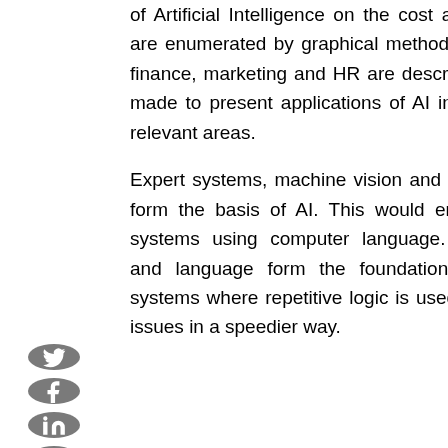of Artificial Intelligence on the cost and product curves are enumerated by graphical method. AI in the fields of finance, marketing and HR are described. An attempt is made to present applications of AI in business in other relevant areas.

Expert systems, machine vision and speech recognition form the basis of AI. This would enable use of such systems using computer language. Machine learning and language form the foundation of operations of systems where repetitive logic is used in solving human issues in a speedier way.
018
Volume 12, Issue December 2018
Volume 12, Issue June 2018
017
Volume 11, Issue December 2017
Volume 11, Issue June 2017
016
Volume 10, Issue December 2016
Volume 10, Issue June 2016
015
Volume 9, issue December 2015